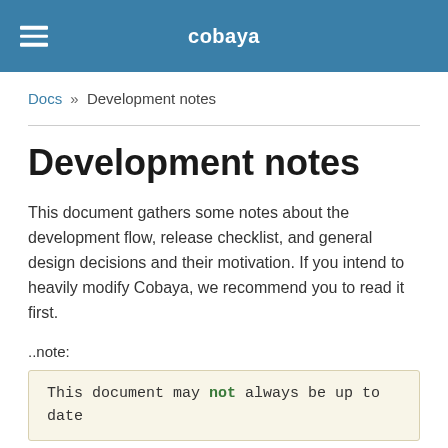cobaya
Docs » Development notes
Development notes
This document gathers some notes about the development flow, release checklist, and general design decisions and their motivation. If you intend to heavily modify Cobaya, we recommend you to read it first.
..note:
This document may not always be up to date